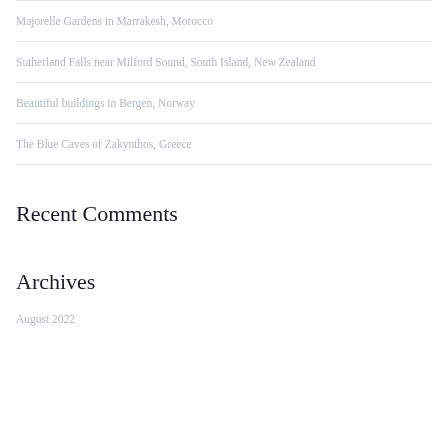Majorelle Gardens in Marrakesh, Morocco
Sutherland Falls near Milford Sound, South Island, New Zealand
Beautiful buildings in Bergen, Norway
The Blue Caves of Zakynthos, Greece
Recent Comments
Archives
August 2022